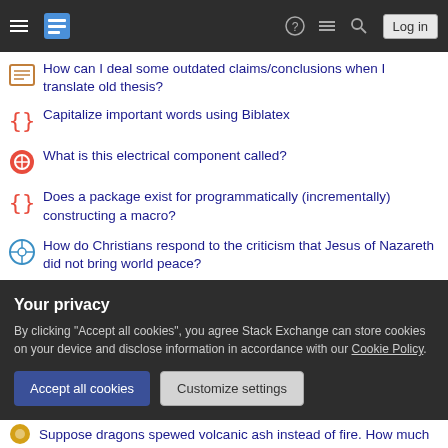Stack Exchange navigation header with hamburger menu, logo, help, meta, search, and Log in button
How can I deal some outdated claims/conclusions when I translate old thesis?
Capitalize important words using Biblatex
What is this electrical component called?
Does a package exist for programmatically (incrementally) constructing a macro?
How do Christians respond to the criticism that Jesus of Nazareth did not bring world peace?
Stream.peek() can be skipped for optimization
How to adequately secure a liquid filling in a piece of pastry?
Under extreme/idyllic conditions, could Cult of the Dragon necrofy
Your privacy
By clicking "Accept all cookies", you agree Stack Exchange can store cookies on your device and disclose information in accordance with our Cookie Policy.
Suppose dragons spewed volcanic ash instead of fire. How much